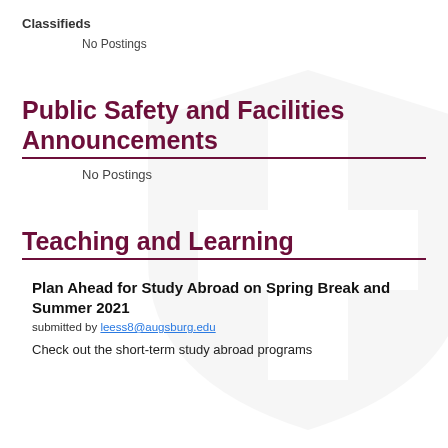Classifieds
No Postings
Public Safety and Facilities Announcements
No Postings
Teaching and Learning
Plan Ahead for Study Abroad on Spring Break and Summer 2021
submitted by leess8@augsburg.edu
Check out the short-term study abroad programs